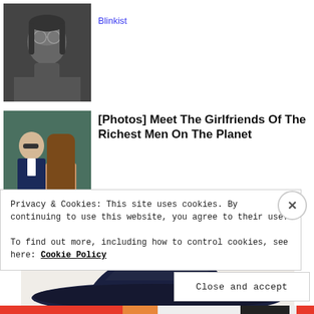[Figure (photo): Black and white portrait photo of a young man with glasses and long hair]
Blinkist
[Figure (photo): Photo of a man in a suit and a woman with long hair wearing sunglasses, sitting together]
[Photos] Meet The Girlfriends Of The Richest Men On The Planet
Bon Voyaged
[Figure (photo): Photo of a dark navy cowboy hat, top portion visible]
Privacy & Cookies: This site uses cookies. By continuing to use this website, you agree to their use.
To find out more, including how to control cookies, see here: Cookie Policy
Close and accept